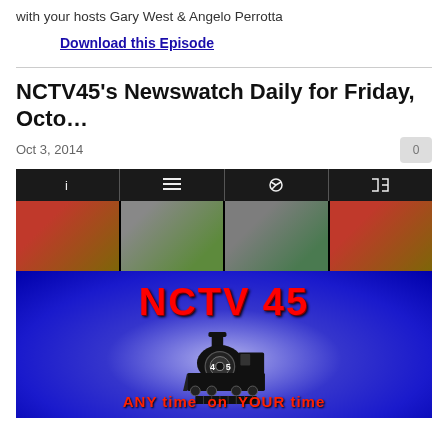with your hosts Gary West & Angelo Perrotta
Download this Episode
NCTV45's Newswatch Daily for Friday, Octo…
Oct 3, 2014
[Figure (screenshot): Video player screenshot showing NCTV 45 branding with blue background, a black steam locomotive with '45' on it, toolbar with icons, thumbnail strip of outdoor photos, and text 'ANY time on YOUR time' in red at bottom.]